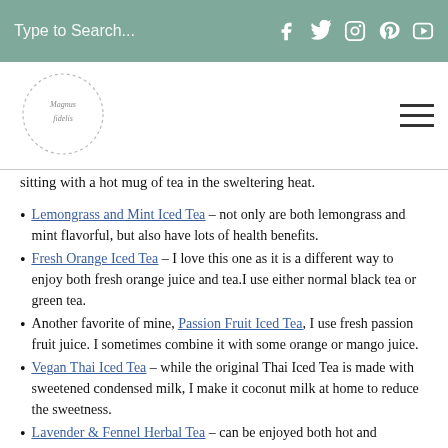Type to Search...
sitting with a hot mug of tea in the sweltering heat.
Lemongrass and Mint Iced Tea – not only are both lemongrass and mint flavorful, but also have lots of health benefits.
Fresh Orange Iced Tea – I love this one as it is a different way to enjoy both fresh orange juice and tea.I use either normal black tea or green tea.
Another favorite of mine, Passion Fruit Iced Tea, I use fresh passion fruit juice. I sometimes combine it with some orange or mango juice.
Vegan Thai Iced Tea – while the original Thai Iced Tea is made with sweetened condensed milk, I make it coconut milk at home to reduce the sweetness.
Lavender & Fennel Herbal Tea – can be enjoyed both hot and